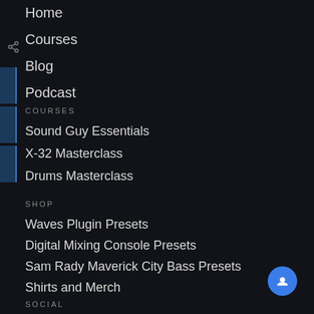Home
Courses
Blog
Podcast
COURSES
Sound Guy Essentials
X-32 Masterclass
Drums Masterclass
SHOP
Waves Plugin Presets
Digital Mixing Console Presets
Sam Rady Maverick City Bass Presets
Shirts and Merch
SOCIAL